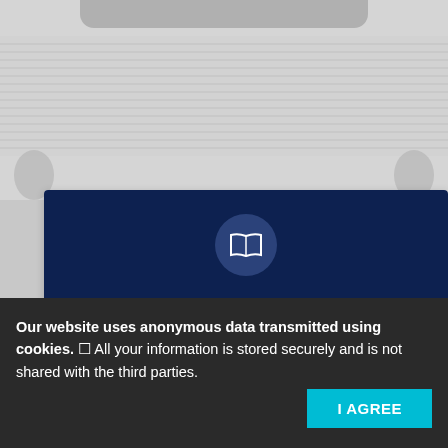[Figure (screenshot): Mobile browser screenshot showing a profile card for Sergei Shorokh on a gray background with horizontal line texture]
Sergei Shorokh
Candidate of Medical Sciences, associate professor
Our website uses anonymous data transmitted using cookies. ⓘ All your information is stored securely and is not shared with the third parties.